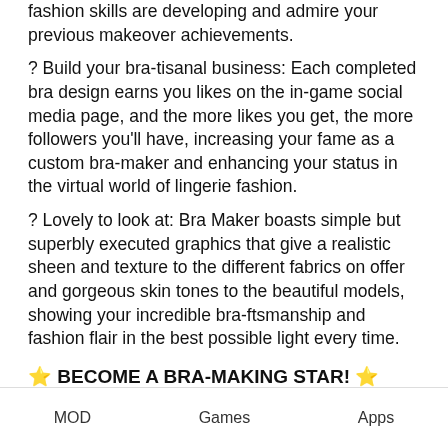fashion skills are developing and admire your previous makeover achievements.
? Build your bra-tisanal business: Each completed bra design earns you likes on the in-game social media page, and the more likes you get, the more followers you’ll have, increasing your fame as a custom bra-maker and enhancing your status in the virtual world of lingerie fashion.
? Lovely to look at: Bra Maker boasts simple but superbly executed graphics that give a realistic sheen and texture to the different fabrics on offer and gorgeous skin tones to the beautiful models, showing your incredible bra-ftsmanship and fashion flair in the best possible light every time.
⭐ BECOME A BRA-MAKING STAR! ⭐
MOD   Games   Apps